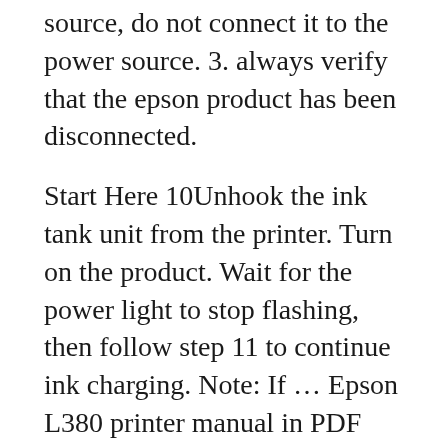source, do not connect it to the power source. 3. always verify that the epson product has been disconnected.
Start Here 10Unhook the ink tank unit from the printer. Turn on the product. Wait for the power light to stop flashing, then follow step 11 to continue ink charging. Note: If ... Epson L380 printer manual in PDF format [Download Free] Epson L380 manual download, user guide. Help, instructions, installation, configuration, how to print and scan, maintenance, troubleshooting, etc.
L380 Printer pdf manual download. Printer Epson L1800 Service Manual. Color inkjet printer (150 pages) Printer Epson TM U220 User Manual